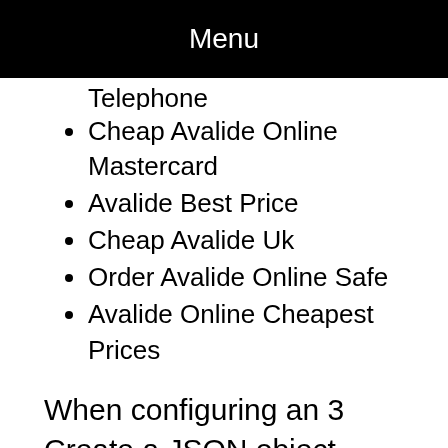Menu
Telephone
Cheap Avalide Online Mastercard
Avalide Best Price
Cheap Avalide Uk
Order Avalide Online Safe
Avalide Online Cheapest Prices
When configuring an 3 Create a JSON object mapping cheap